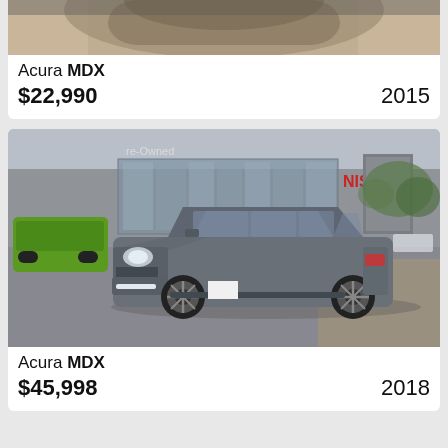[Figure (photo): Partial top view of a car interior/seat detail, cropped at top of page]
Acura MDX
$22,990   2015
[Figure (photo): Gray Acura MDX SUV parked in front of a Nissan dealership with 're-owned' signage, green Jeep visible on left]
Acura MDX
$45,998   2018